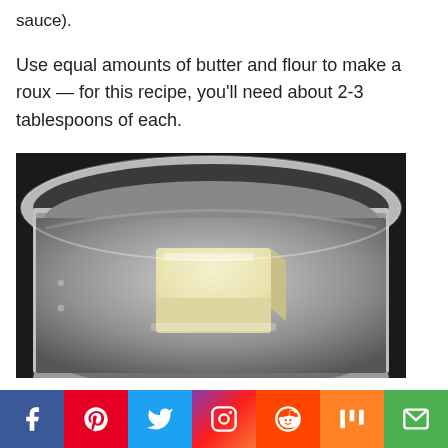sauce).
Use equal amounts of butter and flour to make a roux — for this recipe, you'll need about 2-3 tablespoons of each.
[Figure (photo): A stick of butter sitting in a shiny stainless steel saucepan, viewed from above, against a dark background.]
Social sharing bar with Facebook, Pinterest, Twitter, Instagram, Reddit, Mix, and Email buttons